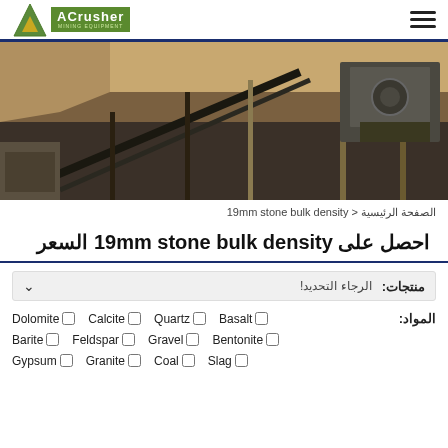[Figure (logo): ACrusher Mining Equipment logo with green triangle and text]
[Figure (photo): Mining/crushing equipment facility with conveyor belts and machinery]
الصفحة الرئيسية < 19mm stone bulk density
احصل على السعر 19mm stone bulk density
منتجات: الرجاء التحديد!
المواد: Dolomite Calcite Quartz Basalt Barite Feldspar Gravel Bentonite Gypsum Granite Coal Slag